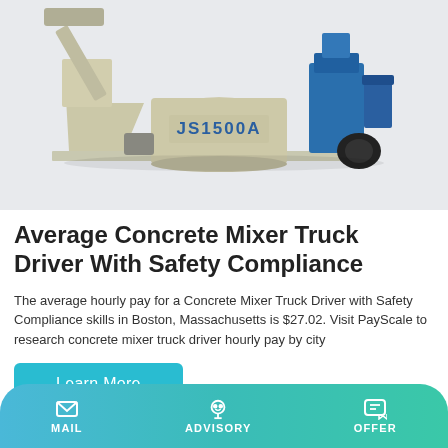[Figure (photo): Photo of a JS1500A concrete mixer machine, beige/cream colored with blue components, on a metal platform, against a light grey background.]
Average Concrete Mixer Truck Driver With Safety Compliance
The average hourly pay for a Concrete Mixer Truck Driver with Safety Compliance skills in Boston, Massachusetts is $27.02. Visit PayScale to research concrete mixer truck driver hourly pay by city
Learn More
MAIL   ADVISORY   OFFER